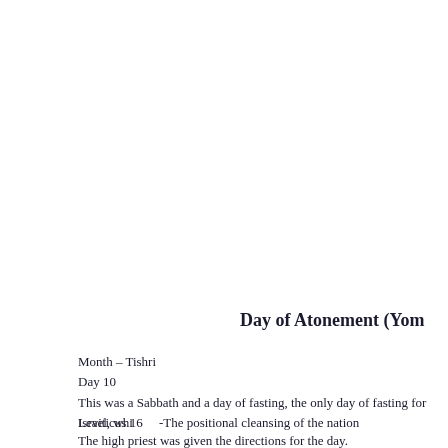Day of Atonement (Yom
Month – Tishri
Day 10
This was a Sabbath and a day of fasting, the only day of fasting for Israel, whi
Leviticus 16     -The positional cleansing of the nation
The high priest was given the directions for the day.
Leviticus 16:2
“Tell your bother Aaron not to come whenever he chooses into the “Holy of H